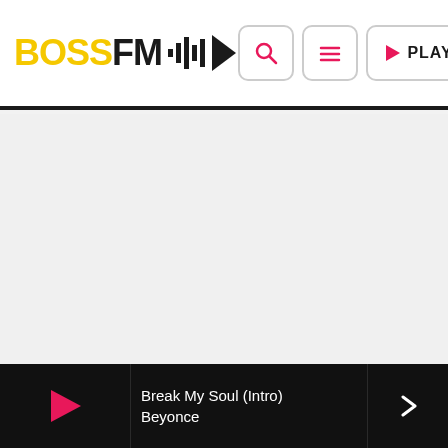BOSS FM
[Figure (screenshot): Main content area, empty gray background]
Break My Soul (Intro)
Beyonce